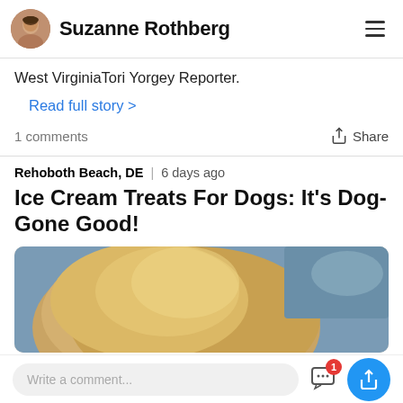Suzanne Rothberg
West VirginiaTori Yorgey Reporter.
Read full story >
1 comments   Share
Rehoboth Beach, DE  6 days ago
Ice Cream Treats For Dogs: It's Dog-Gone Good!
[Figure (photo): Close-up photo of a golden-colored dog outdoors against a blueish sky background]
Write a comment...